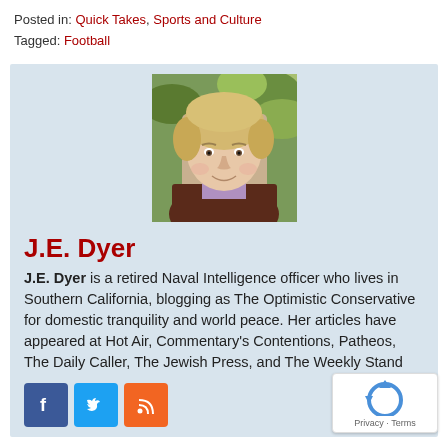Posted in: Quick Takes, Sports and Culture
Tagged: Football
[Figure (photo): Headshot photo of J.E. Dyer, a woman with short blonde hair, outdoors with green foliage in background]
J.E. Dyer
J.E. Dyer is a retired Naval Intelligence officer who lives in Southern California, blogging as The Optimistic Conservative for domestic tranquility and world peace. Her articles have appeared at Hot Air, Commentary's Contentions, Patheos, The Daily Caller, The Jewish Press, and The Weekly Stand...